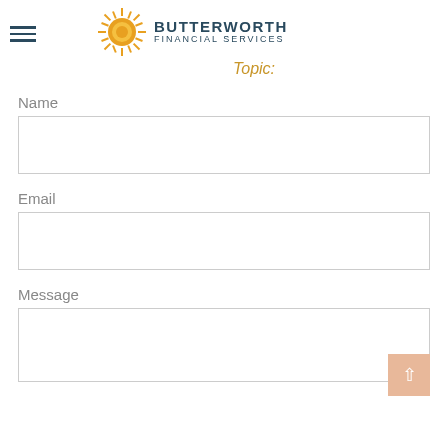[Figure (logo): Butterworth Financial Services logo with sun graphic and company name]
Topic:
Name
Email
Message